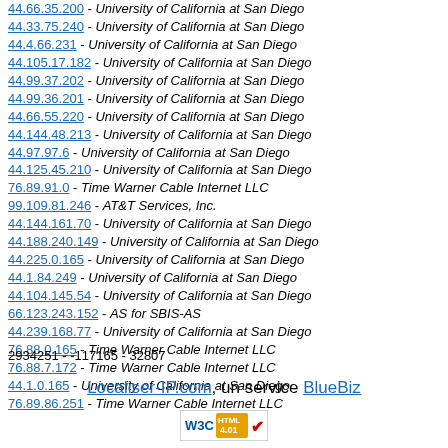44.66.35.200 - University of California at San Diego
44.33.75.240 - University of California at San Diego
44.4.66.231 - University of California at San Diego
44.105.17.182 - University of California at San Diego
44.99.37.202 - University of California at San Diego
44.99.36.201 - University of California at San Diego
44.66.55.220 - University of California at San Diego
44.144.48.213 - University of California at San Diego
44.97.97.6 - University of California at San Diego
44.125.45.210 - University of California at San Diego
76.89.91.0 - Time Warner Cable Internet LLC
99.109.81.246 - AT&T Services, Inc.
44.144.161.70 - University of California at San Diego
44.188.240.149 - University of California at San Diego
44.225.0.165 - University of California at San Diego
44.1.84.249 - University of California at San Diego
44.104.145.54 - University of California at San Diego
66.123.243.152 - AS for SBIS-AS
44.239.168.77 - University of California at San Diego
76.88.0.165 - Time Warner Cable Internet LLC
76.88.7.172 - Time Warner Cable Internet LLC
44.1.0.165 - University of California at San Diego
76.89.86.251 - Time Warner Cable Internet LLC
2934251 - -117165 - 32807
Localiser-IP.com, un service BlueBiz
[Figure (logo): W3C HTML 4.01 validation badge]